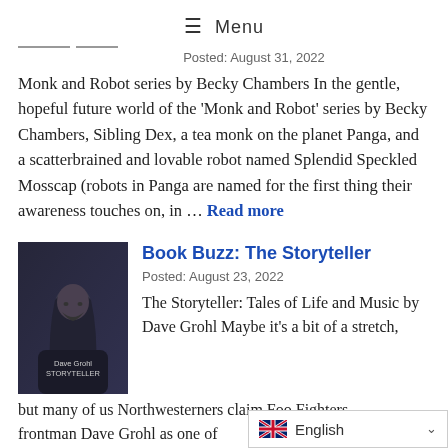≡ Menu
Posted: August 31, 2022
Monk and Robot series by Becky Chambers In the gentle, hopeful future world of the 'Monk and Robot' series by Becky Chambers, Sibling Dex, a tea monk on the planet Panga, and a scatterbrained and lovable robot named Splendid Speckled Mosscap (robots in Panga are named for the first thing their awareness touches on, in … Read more
[Figure (photo): Book cover of The Storyteller by Dave Grohl showing a man with long dark hair and beard against a dark background]
Book Buzz: The Storyteller
Posted: August 23, 2022
The Storyteller: Tales of Life and Music by Dave Grohl Maybe it's a bit of a stretch, but many of us Northwesterners claim Foo Fighters frontman Dave Grohl as one of